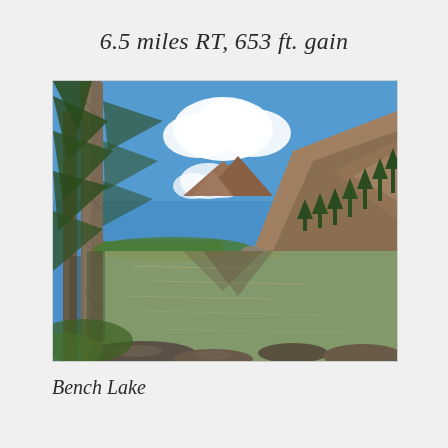6.5 miles RT, 653 ft. gain
[Figure (photo): Outdoor mountain lake scene (Bench Lake) with tall conifer trees on the left, a calm reflective lake in the center, rocky mountain peaks in the background, and a vivid blue sky with white clouds above.]
Bench Lake